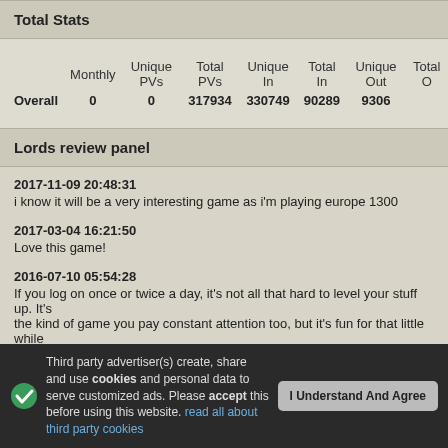Total Stats
| Monthly | Unique PVs | Total PVs | Unique In | Total In | Unique Out | Total O... |
| --- | --- | --- | --- | --- | --- | --- |
| Overall | 0 | 0 | 317934 | 330749 | 90289 | 9306 |
Lords review panel
2017-11-09 20:48:31
i know it will be a very interesting game as i'm playing europe 1300
2017-03-04 16:21:50
Love this game!
2016-07-10 05:54:28
If you log on once or twice a day, it's not all that hard to level your stuff up. It's the kind of game you pay constant attention too, but it's fun for that little while...
Third party advertiser(s) create, share and use cookies and personal data to serve customized ads. Please accept this before using this website. read all about third party cookies